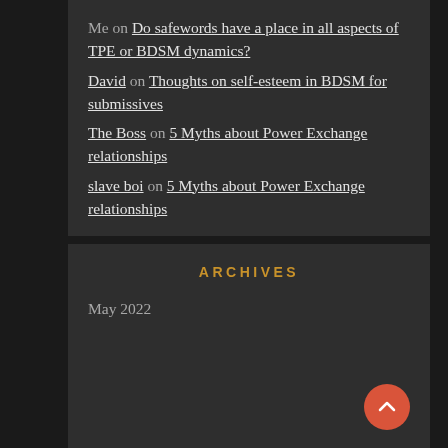Me on Do safewords have a place in all aspects of TPE or BDSM dynamics?
David on Thoughts on self-esteem in BDSM for submissives
The Boss on 5 Myths about Power Exchange relationships
slave boi on 5 Myths about Power Exchange relationships
ARCHIVES
May 2022